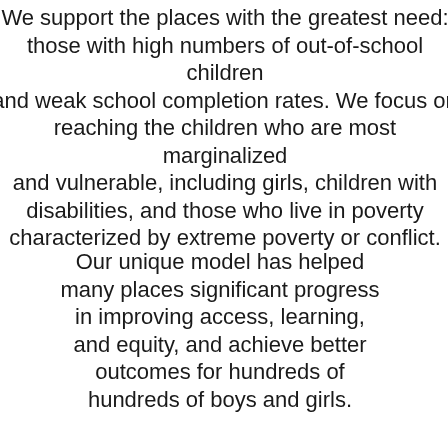We support the places with the greatest need: those with high numbers of out-of-school children and weak school completion rates. We focus on reaching the children who are most marginalized and vulnerable, including girls, children with disabilities, and those who live in poverty characterized by extreme poverty or conflict.
Our unique model has helped many places significant progress in improving access, learning, and equity, and achieve better outcomes for hundreds of hundreds of boys and girls.